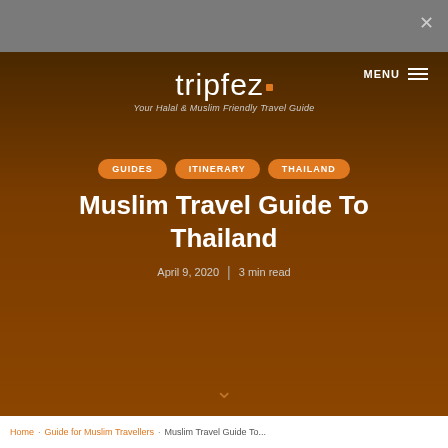tripfez — Your Halal & Muslim Friendly Travel Guide | MENU
[Figure (screenshot): Tripfez website hero section with dark brown gradient background, logo at top, navigation tags (GUIDES, ITINERARY, THAILAND), main article title, and date/read-time metadata]
Muslim Travel Guide To Thailand
April 9, 2020 | 3 min read
Home · Guide for Muslim Travellers · Muslim Travel Guide To...